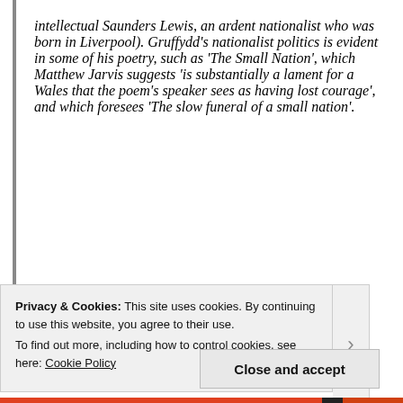intellectual Saunders Lewis, an ardent nationalist who was born in Liverpool). Gruffydd's nationalist politics is evident in some of his poetry, such as 'The Small Nation', which Matthew Jarvis suggests 'is substantially a lament for a Wales that the poem's speaker sees as having lost courage', and which foresees 'The slow funeral of a small nation'.
Cookie banner: Privacy & Cookies: This site uses cookies. By continuing to use this website, you agree to their use. To find out more, including how to control cookies, see here: Cookie Policy